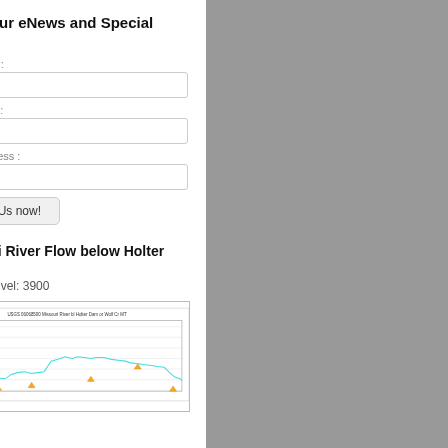Catch our eNews and Special Offers
First Name :
Last Name :
Email Address :
Catch Us now!
Missouri River Flow below Holter Dam
Current Level: 3900
[Figure (line-chart): Line chart of Missouri River flow at Holter Dam, with y-axis labeled feet per second ranging from about 3900 to 5000, showing a cyan/blue line with fluctuations and orange triangle markers]